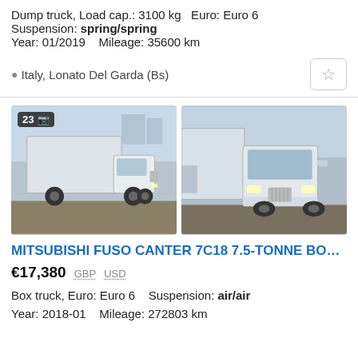Dump truck, Load cap.: 3100 kg  Euro: Euro 6
Suspension: spring/spring
Year: 01/2019   Mileage: 35600 km
Italy, Lonato Del Garda (Bs)
[Figure (photo): Two photos of a white Mitsubishi Fuso Canter 7C18 box van truck. Left photo shows full side/front view in a parking lot. Right photo shows front 3/4 view close-up.]
MITSUBISHI FUSO CANTER 7C18 7.5-TONNE BOX VAN ...
€17,380  GBP  USD
Box truck, Euro: Euro 6   Suspension: air/air
Year: 2018-01   Mileage: 272803 km